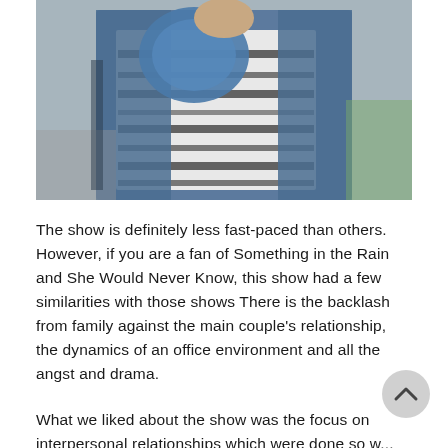[Figure (photo): A person wearing a denim jacket and a white top with black stripes/patterns, carrying a blue bag over their shoulder. The image is cropped showing the torso and lower face area.]
The show is definitely less fast-paced than others. However, if you are a fan of Something in the Rain and She Would Never Know, this show had a few similarities with those shows There is the backlash from family against the main couple's relationship, the dynamics of an office environment and all the angst and drama.
What we liked about the show was the focus on interpersonal relationships which were done so w... There were the parent-children relationships, the husband-wife relationships, the friendships and the romantic relationships. So many different ones were